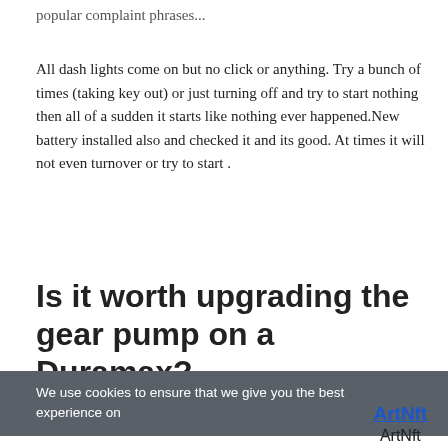popular complaint phrases...
All dash lights come on but no click or anything. Try a bunch of times (taking key out) or just turning off and try to start nothing then all of a sudden it starts like nothing ever happened.New battery installed also and checked it and its good. At times it will not even turnover or try to start .
Is it worth upgrading the gear pump on a Duramax?
We use cookies to ensure that we give you the best experience on
ArtNft
ArtNft
artnft.fun